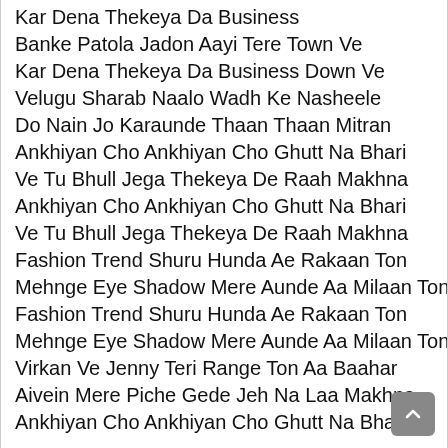Kar Dena Thekeya Da Business
Banke Patola Jadon Aayi Tere Town Ve
Kar Dena Thekeya Da Business Down Ve
Velugu Sharab Naalo Wadh Ke Nasheele
Do Nain Jo Karaunde Thaan Thaan Mitran
Ankhiyan Cho Ankhiyan Cho Ghutt Na Bhari
Ve Tu Bhull Jega Thekeya De Raah Makhna
Ankhiyan Cho Ankhiyan Cho Ghutt Na Bhari
Ve Tu Bhull Jega Thekeya De Raah Makhna
Fashion Trend Shuru Hunda Ae Rakaan Ton
Mehnge Eye Shadow Mere Aunde Aa Milaan Ton
Fashion Trend Shuru Hunda Ae Rakaan Ton
Mehnge Eye Shadow Mere Aunde Aa Milaan Ton
Virkan Ve Jenny Teri Range Ton Aa Baahar
Aivein Mere Piche Gede Jeh Na Laa Makhna
Ankhiyan Cho Ankhiyan Cho Ghutt Na Bhari